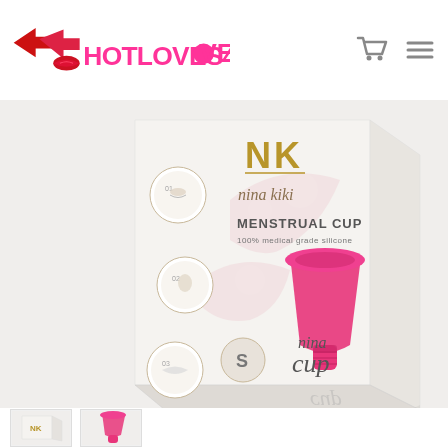[Figure (logo): HOTLOVES4LOVE brand logo with red lips and arrow icon on white background, red and pink text]
[Figure (photo): Product photo of Nina Kiki Menstrual Cup (Nina Cup) in size S. White box packaging showing NK logo in gold, nina kiki brand name in script, text 'MENSTRUAL CUP 100% medical grade silicone', illustrated usage instruction circles on left side, and a pink/magenta menstrual cup. Box label shows 'nina cup' in script. Reflection visible below. Background is light grey/white.]
[Figure (photo): Partial thumbnail images at the bottom showing the same product from different angles]